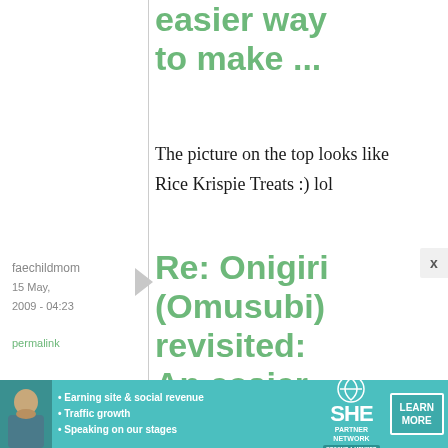easier way to make ...
The picture on the top looks like Rice Krispie Treats :) lol
faechildmom
15 May, 2009 - 04:23
permalink
Re: Onigiri (Omusubi) revisited: An easier
[Figure (infographic): SHE Partner Network advertisement banner with photo of woman, bullet points: Earning site & social revenue, Traffic growth, Speaking on our stages. SHE logo with PARTNER NETWORK / BECOME A MEMBER. LEARN MORE button.]